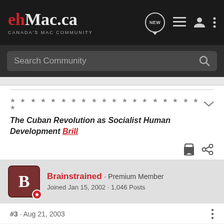ehMac.ca — CANADA'S MAC COMMUNITY
Search Community
★ ★ ★ ★ ★ ★ ★ ★ ★ ★ ★ ★ ★ ★ ★ ★ ★ ★ ★ ★
The Cuban Revolution as Socialist Human Development Brill
Brainstrained · Premium Member
Joined Jan 15, 2002 · 1,046 Posts
#3 · Aug 21, 2003
I think we had a thread on this a couple of weeks ago and the consensus was OS X works fine.

I know it does for me.